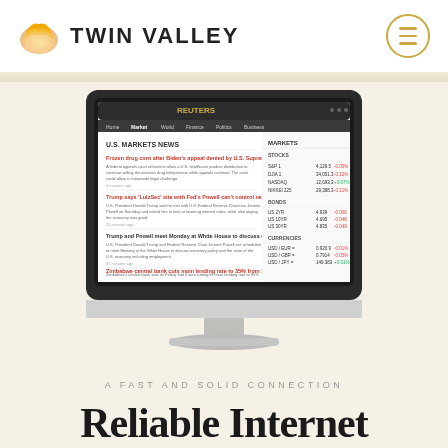[Figure (logo): Twin Valley logo — golden layered wave icon on the left, bold uppercase text TWIN VALLEY to the right]
[Figure (screenshot): Desktop iMac computer monitor displaying Reuters U.S. Markets News website with news headlines and market data panel on the right]
A FAST AND SOLID CONNECTION
Reliable Internet